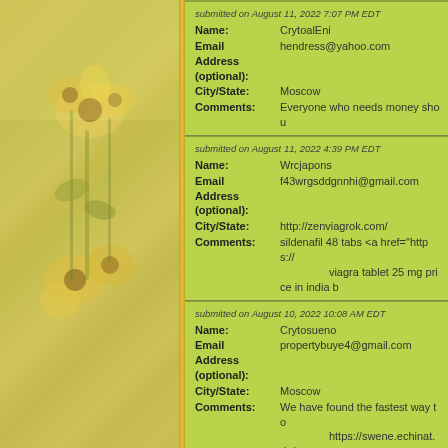[Figure (photo): Yellow flowers with green stems on a warm golden background, slightly blurred and overexposed]
submitted on August 11, 2022 7:07 PM EDT
Name: CrytoalEni
Email Address (optional): hendress@yahoo.com
City/State: Moscow
Comments: Everyone who needs money shou
submitted on August 11, 2022 4:39 PM EDT
Name: Wrcjapons
Email Address (optional): f43wrgsddgnnhi@gmail.com
City/State: http://zenviagrok.com/
Comments: sildenafil 48 tabs <a href="https://... viagra tablet 25 mg price in india b
submitted on August 10, 2022 10:08 AM EDT
Name: Crytosueno
Email Address (optional): propertybuye4@gmail.com
City/State: Moscow
Comments: We have found the fastest way to... https://swene.echinat.de/swene